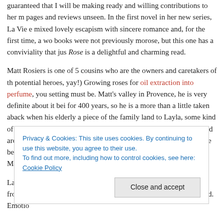guaranteed that I will be making ready and willing contributions to her m— pages and reviews unseen. In the first novel in her new series, La Vie e— mixed lovely escapism with sincere romance and, for the first time, a wo— books were not previously morose, but this one has a conviviality that jus— Rose is a delightful and charming read.
Matt Rosiers is one of 5 cousins who are the owners and caretakers of th— potential heroes, yay!) Growing roses for oil extraction into perfume, you setting must be. Matt's valley in Provence, he is very definite about it bei— for 400 years, so he is a more than a little taken aback when his elderly a piece of the family land to Layla, some kind of distant family connection h growly, vulnerable Matt gets wrapped around Layla's little finger, and she what Florand does best, or I like best, one of those two, maybe both, she the heart of the matter, and Matt is no exception.
Layla, sweet and open-hearted, is a singer-songwriter transitioning from the pressures of matching the accomplishment with her second. Emotio—
Privacy & Cookies: This site uses cookies. By continuing to use this website, you agree to their use.
To find out more, including how to control cookies, see here: Cookie Policy